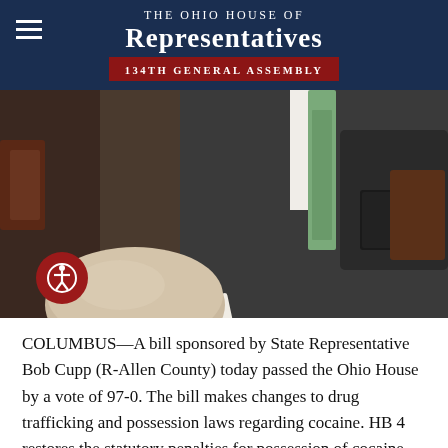The Ohio House of Representatives 134th General Assembly
[Figure (photo): A legislator in a dark suit and green tie holds papers on the House floor; another person's bald head visible in the foreground.]
COLUMBUS—A bill sponsored by State Representative Bob Cupp (R-Allen County) today passed the Ohio House by a vote of 97-0. The bill makes changes to drug trafficking and possession laws regarding cocaine. HB 4 restores the statutory penalties for possession of cocaine and clarifies the penalties for the